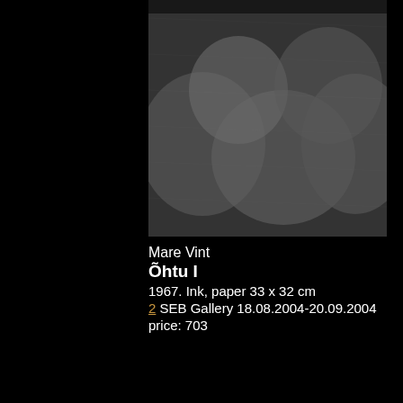[Figure (photo): Close-up grayscale artwork showing rounded organic forms, ink on paper by Mare Vint]
Mare Vint
Õhtu I
1967. Ink, paper 33 x 32 cm
2 SEB Gallery 18.08.2004-20.09.2004
price: 703
[Figure (photo): Grayscale ink artwork showing vertical striped texture with dark oval dots along center, by Mare Vint]